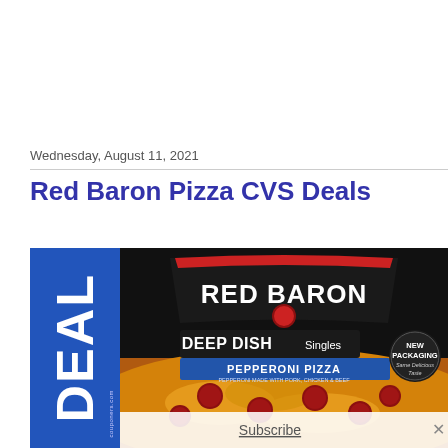Wednesday, August 11, 2021
Red Baron Pizza CVS Deals
[Figure (photo): Red Baron Deep Dish Singles Pepperoni Pizza product box image with a blue DEAL badge on the left side and a Subscribe overlay button at the bottom]